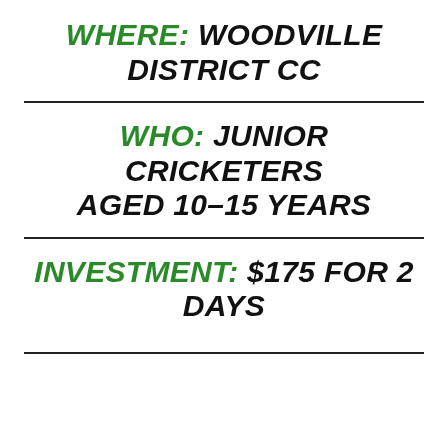WHERE: WOODVILLE DISTRICT CC
WHO: JUNIOR CRICKETERS AGED 10-15 YEARS
INVESTMENT: $175 FOR 2 DAYS